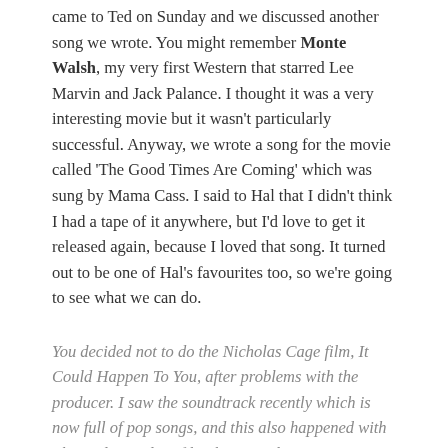came to Ted on Sunday and we discussed another song we wrote. You might remember Monte Walsh, my very first Western that starred Lee Marvin and Jack Palance. I thought it was a very interesting movie but it wasn't particularly successful. Anyway, we wrote a song for the movie called 'The Good Times Are Coming' which was sung by Mama Cass. I said to Hal that I didn't think I had a tape of it anywhere, but I'd love to get it released again, because I loved that song. It turned out to be one of Hal's favourites too, so we're going to see what we can do.
You decided not to do the Nicholas Cage film, It Could Happen To You, after problems with the producer. I saw the soundtrack recently which is now full of pop songs, and this also happened with The Bodyguard - a film that you also once considered scoring. Would you say producers are interfering more these days, and is this why you've left the occasional project?
Well that wasn't the reason I didn't do those films, it was something else. No, funnily enough, Emilio Estefan wrote